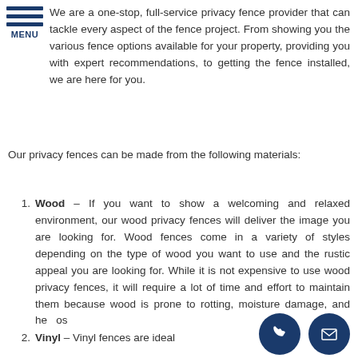[Figure (other): Hamburger menu icon with three blue horizontal bars and 'MENU' text below]
We are a one-stop, full-service privacy fence provider that can tackle every aspect of the fence project. From showing you the various fence options available for your property, providing you with expert recommendations, to getting the fence installed, we are here for you.
Our privacy fences can be made from the following materials:
Wood – If you want to show a welcoming and relaxed environment, our wood privacy fences will deliver the image you are looking for. Wood fences come in a variety of styles depending on the type of wood you want to use and the rustic appeal you are looking for. While it is not expensive to use wood privacy fences, it will require a lot of time and effort to maintain them because wood is prone to rotting, moisture damage, and he...os...
Vinyl – Vinyl fences are ideal ...d...